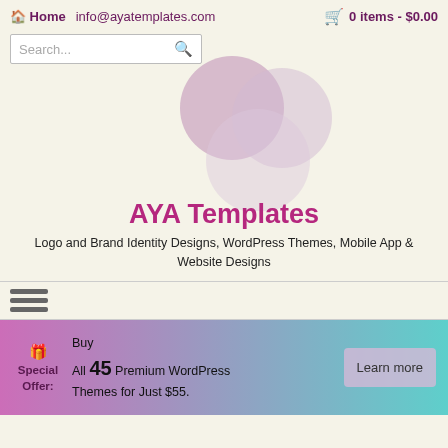Home  info@ayatemplates.com    0 items - $0.00
[Figure (illustration): Search bar with placeholder text 'Search...' and magnifying glass icon]
[Figure (illustration): Three overlapping translucent circles in muted purple/mauve tones forming a logo graphic]
AYA Templates
Logo and Brand Identity Designs, WordPress Themes, Mobile App & Website Designs
[Figure (illustration): Hamburger menu icon with three horizontal bars]
Special Offer: Buy All 45 Premium WordPress Themes for Just $55.
Learn more